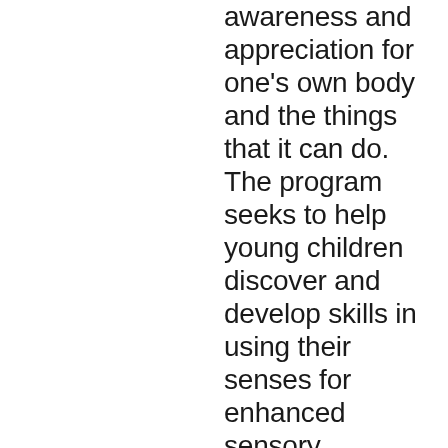awareness and appreciation for one's own body and the things that it can do. The program seeks to help young children discover and develop skills in using their senses for enhanced sensory discrimination